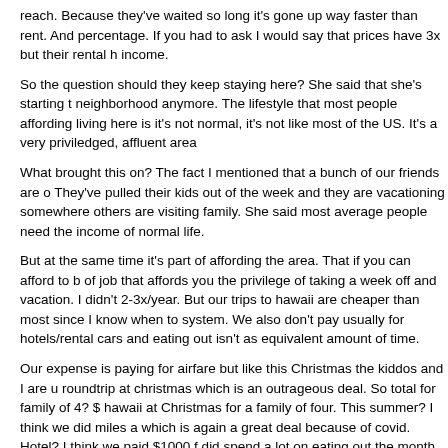reach.  Because they've waited so long it's gone up way faster than rent.  And percentage. If you had to ask I would say that prices have 3x but their rental h income.
So the question should they keep staying here?  She said that she's starting t neighborhood anymore.  The lifestyle that most people affording living here is it's not normal, it's not like most of the US. It's a very priviledged, affluent area
What brought this on?  The fact I mentioned that a bunch of our friends are o They've pulled their kids out of the week and they are vacationing somewhere others are visiting family.   She said most average people need the income of normal life.
But at the same time it's part of affording the area.  That if you can afford to b of job that affords you the privilege of taking a week off and vacation.  I didn't 2-3x/year.  But our trips to hawaii are cheaper than most since I know when to system.  We also don't pay usually for hotels/rental cars and eating out isn't as equivalent amount of time.
Our expense is paying for airfare but like this Christmas the kiddos and I are u roundtrip at christmas which is an outrageous deal.  So total for family of 4?  $ hawaii at Christmas for a family of four.   This summer?  I think we did miles a which is again a great deal because of covid.   Hotel?  I think we paid $1000 f did spend a lot on eating out the month with my parents so $1500.  But a mor Again not possible for most people.  But would I come to hawaii if I weren't se exactly a fair comparison.  I also watch airfares constantly and have updates